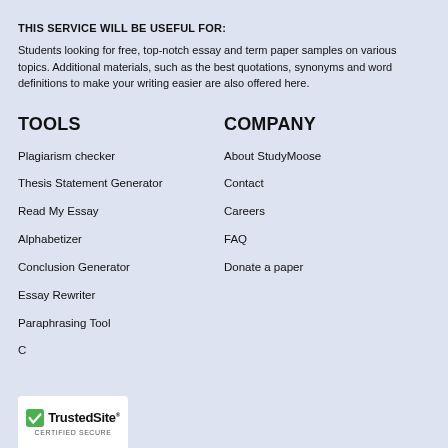THIS SERVICE WILL BE USEFUL FOR:
Students looking for free, top-notch essay and term paper samples on various topics. Additional materials, such as the best quotations, synonyms and word definitions to make your writing easier are also offered here.
TOOLS
Plagiarism checker
Thesis Statement Generator
Read My Essay
Alphabetizer
Conclusion Generator
Essay Rewriter
Paraphrasing Tool
COMPANY
About StudyMoose
Contact
Careers
FAQ
Donate a paper
[Figure (logo): TrustedSite Certified Secure badge with green checkmark shield icon]